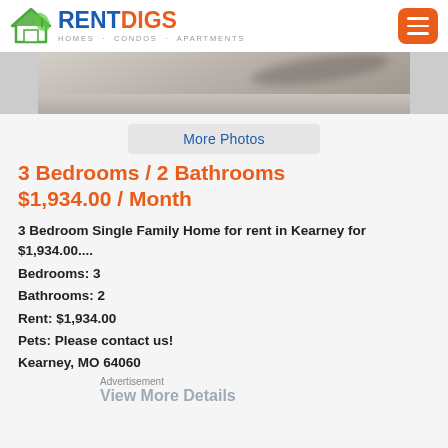RENTDIGS HOMES · CONDOS · APARTMENTS
[Figure (photo): Partial photo of a property, showing sandy/light ground with a tree shadow]
More Photos
3 Bedrooms / 2 Bathrooms
$1,934.00 / Month
3 Bedroom Single Family Home for rent in Kearney for $1,934.00....
Bedrooms: 3
Bathrooms: 2
Rent: $1,934.00
Pets:  Please contact us!
Kearney, MO 64060
Advertisement
View More Details